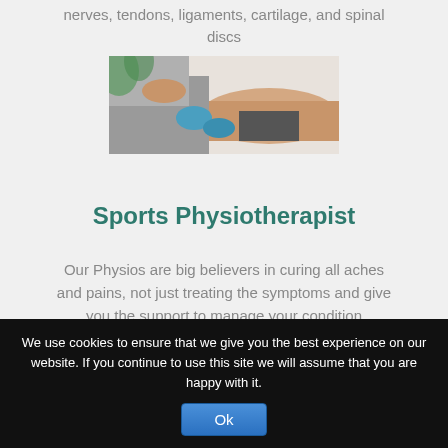nerves, tendons, ligaments, cartilage, and spinal discs
[Figure (photo): Physiotherapist applying treatment to a patient's back or shoulder area, wearing blue gloves]
Sports Physiotherapist
Our Physios are big believers in curing all aches and pains, not just treating the symptoms and give you the support to manage your condition
We use cookies to ensure that we give you the best experience on our website. If you continue to use this site we will assume that you are happy with it.